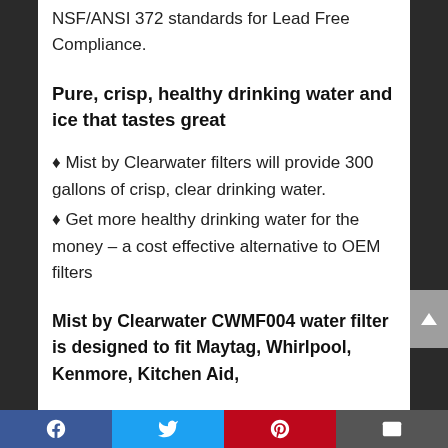NSF/ANSI 372 standards for Lead Free Compliance.
Pure, crisp, healthy drinking water and ice that tastes great
♦ Mist by Clearwater filters will provide 300 gallons of crisp, clear drinking water.
♦ Get more healthy drinking water for the money – a cost effective alternative to OEM filters
Mist by Clearwater CWMF004 water filter is designed to fit Maytag, Whirlpool, Kenmore, Kitchen Aid,